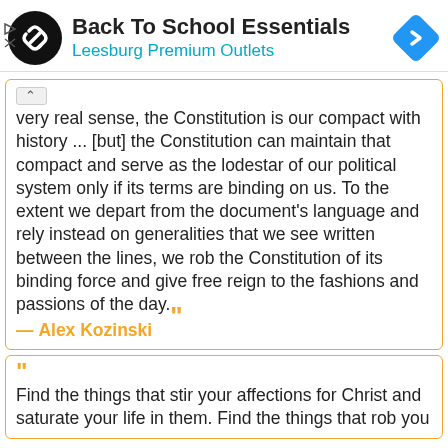[Figure (other): Advertisement banner: Back To School Essentials at Leesburg Premium Outlets, with circular logo and diamond navigation icon.]
In a very real sense, the Constitution is our compact with history ... [but] the Constitution can maintain that compact and serve as the lodestar of our political system only if its terms are binding on us. To the extent we depart from the document's language and rely instead on generalities that we see written between the lines, we rob the Constitution of its binding force and give free reign to the fashions and passions of the day.
— Alex Kozinski
Find the things that stir your affections for Christ and saturate your life in them. Find the things that rob you...